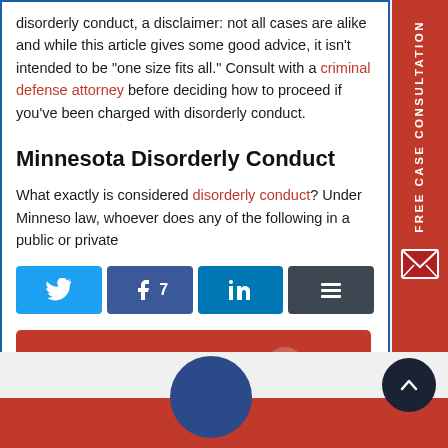disorderly conduct, a disclaimer: not all cases are alike and while this article gives some good advice, it isn't intended to be "one size fits all." Consult with a criminal defense attorney before deciding how to proceed if you've been charged with disorderly conduct.
Minnesota Disorderly Conduct
What exactly is considered disorderly conduct? Under Minnesota law, whoever does any of the following in a public or private
[Figure (infographic): Social share buttons: Twitter, Facebook (with count 7), LinkedIn, Buffer]
[Figure (infographic): Red Continue Reading button with right arrow circle]
[Figure (infographic): FREE CASE CONSULTATION red sidebar tab on right side with envelope icon]
[Figure (infographic): Bottom area with red bar, blue circle, and dark circle with up arrow]